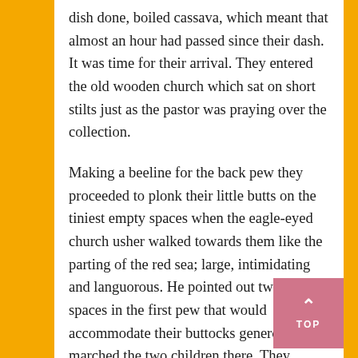dish done, boiled cassava, which meant that almost an hour had passed since their dash. It was time for their arrival. They entered the old wooden church which sat on short stilts just as the pastor was praying over the collection.
Making a beeline for the back pew they proceeded to plonk their little butts on the tiniest empty spaces when the eagle-eyed church usher walked towards them like the parting of the red sea; large, intimidating and languorous. He pointed out two empty spaces in the first pew that would accommodate their buttocks generously and marched the two children there. They walked obediently hoping all eyes were still closed in prayer especially their mothers.
They had timed this Sunday well. Only the sermon